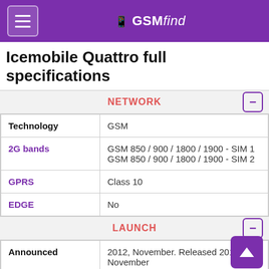GSMfind
Icemobile Quattro full specifications
NETWORK
| Property | Value |
| --- | --- |
| Technology | GSM |
| 2G bands | GSM 850 / 900 / 1800 / 1900 - SIM 1
GSM 850 / 900 / 1800 / 1900 - SIM 2 |
| GPRS | Class 10 |
| EDGE | No |
LAUNCH
| Property | Value |
| --- | --- |
| Announced | 2012, November. Released 2012, November |
| Status | Discontinued |